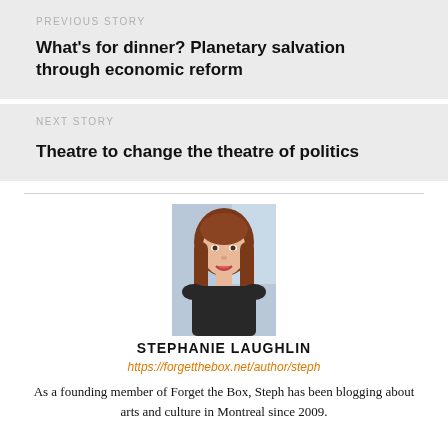PREVIOUS STORY
What's for dinner? Planetary salvation through economic reform
NEXT STORY
Theatre to change the theatre of politics
[Figure (photo): Portrait photo of Stephanie Laughlin, a woman with long reddish-brown hair, smiling, wearing a black top, with a light blue background.]
STEPHANIE LAUGHLIN
https://forgetthebox.net/author/steph
As a founding member of Forget the Box, Steph has been blogging about arts and culture in Montreal since 2009.